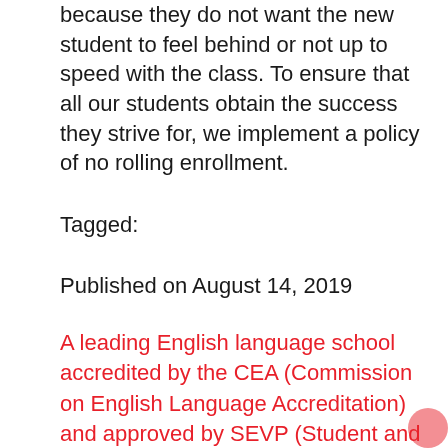because they do not want the new student to feel behind or not up to speed with the class. To ensure that all our students obtain the success they strive for, we implement a policy of no rolling enrollment.
Tagged:
Published on August 14, 2019
A leading English language school accredited by the CEA (Commission on English Language Accreditation) and approved by SEVP (Student and Exchange Visitor Program) located in Los Angeles, California. Learn English in LA with our ESL classes, TOEFL preparation, and English speaking classes. Are you serious about improving your English? Join a class today!